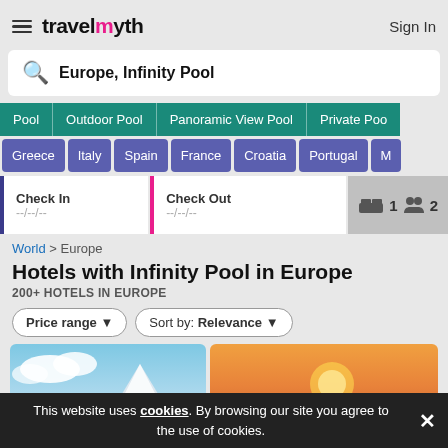travelmyth — Sign In
Europe, Infinity Pool
Pool
Outdoor Pool
Panoramic View Pool
Private Pool
Greece
Italy
Spain
France
Croatia
Portugal
M…
Check In --/--/--
Check Out --/--/--
1 2
World > Europe
Hotels with Infinity Pool in Europe
200+ HOTELS IN EUROPE
Price range ▼   Sort by: Relevance ▼
[Figure (photo): Two hotel photos side by side: left shows a white building against blue sky with mountain, right shows a sunset/orange sky scene. A teal 'Categories 1' badge overlays the bottom center.]
This website uses cookies. By browsing our site you agree to the use of cookies.